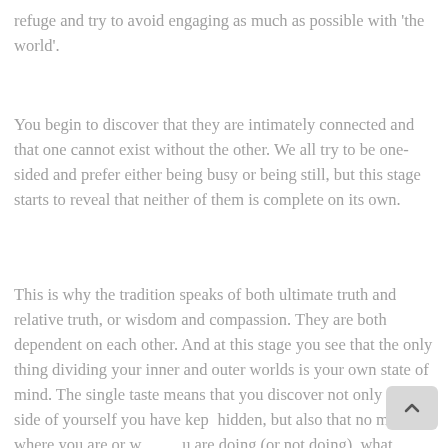refuge and try to avoid engaging as much as possible with 'the world'.
You begin to discover that they are intimately connected and that one cannot exist without the other. We all try to be one-sided and prefer either being busy or being still, but this stage starts to reveal that neither of them is complete on its own.
This is why the tradition speaks of both ultimate truth and relative truth, or wisdom and compassion. They are both dependent on each other. And at this stage you see that the only thing dividing your inner and outer worlds is your own state of mind. The single taste means that you discover not only the side of yourself you have kept hidden, but also that no matter where you are or what you are doing (or not doing), what determines your